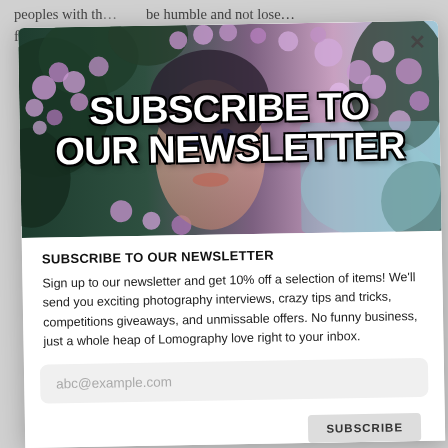peoples with th... ...be humble and not lose...
find out more about his passionate for film making...
[Figure (photo): Newsletter subscription popup with a woman's face partially obscured by lilac/purple flowers, bold white text overlay reading SUBSCRIBE TO OUR NEWSLETTER]
SUBSCRIBE TO OUR NEWSLETTER
Sign up to our newsletter and get 10% off a selection of items! We'll send you exciting photography interviews, crazy tips and tricks, competitions giveaways, and unmissable offers. No funny business, just a whole heap of Lomography love right to your inbox.
abc@example.com